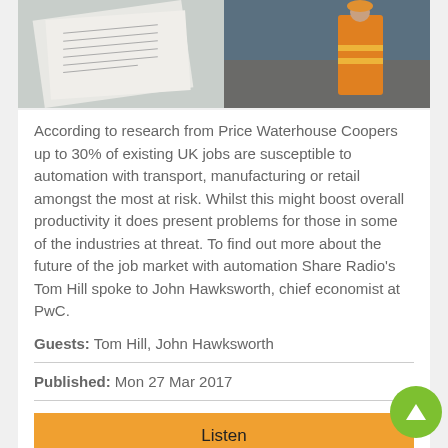[Figure (photo): Photo of documents/paper on left side and a person in high-visibility vest on the right side, partially visible]
According to research from Price Waterhouse Coopers up to 30% of existing UK jobs are susceptible to automation with transport, manufacturing or retail amongst the most at risk. Whilst this might boost overall productivity it does present problems for those in some of the industries at threat. To find out more about the future of the job market with automation Share Radio's Tom Hill spoke to John Hawksworth, chief economist at PwC.
Guests: Tom Hill, John Hawksworth
Published: Mon 27 Mar 2017
Listen
Share Podcast